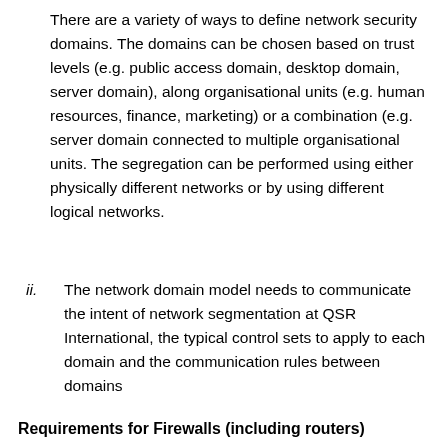There are a variety of ways to define network security domains. The domains can be chosen based on trust levels (e.g. public access domain, desktop domain, server domain), along organisational units (e.g. human resources, finance, marketing) or a combination (e.g. server domain connected to multiple organisational units. The segregation can be performed using either physically different networks or by using different logical networks.
ii. The network domain model needs to communicate the intent of network segmentation at QSR International, the typical control sets to apply to each domain and the communication rules between domains
Requirements for Firewalls (including routers)